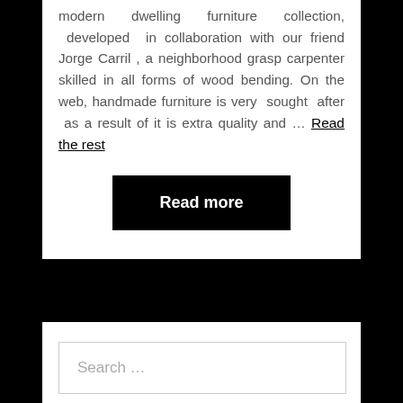modern dwelling furniture collection, developed in collaboration with our friend Jorge Carril , a neighborhood grasp carpenter skilled in all forms of wood bending. On the web, handmade furniture is very sought after as a result of it is extra quality and … Read the rest
Read more
Next
Search …